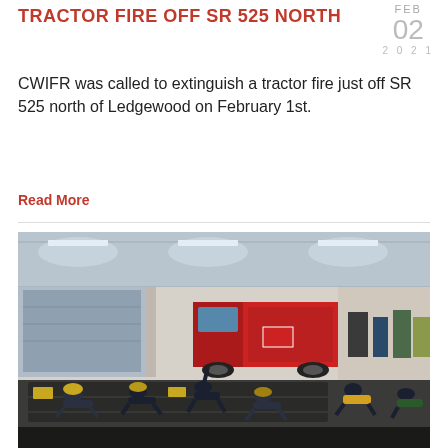Tractor Fire off SR 525 North
FEB
02
2021
CWIFR was called to extinguish a tractor fire just off SR 525 north of Ledgewood on February 1st.
Read More
[Figure (photo): Photo of the interior of a fire station bay with firefighters exercising on the floor. A red fire truck is visible in the background. The space has a metal roof structure with fluorescent lighting.]